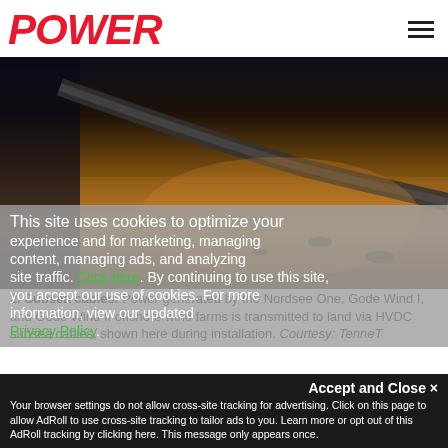POWER
[Figure (photo): Subsea HVDC cable during installation, showing cable laying over sandy/rocky seabed with warm orange lighting]
2. Subsea cables. Power generated by the Nordsee One, Gode Wind I, and Gode Wind II offshore wind farms is transmitted to land via HVDC subsea cables, shown here during installation. Courtesy: TenneT
“HVDC is the technology of choice for reliably and efficiently transmitting large amounts of power over long distances with minimal losses. It is ideal for integrating remote renewable energy into the power grid,” Claudio Facchin, president of ABB’s Power Grids division, said in a press release announcing